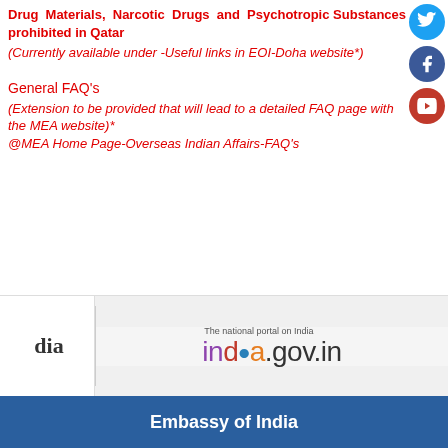Drug Materials, Narcotic Drugs and Psychotropic Substances prohibited in Qatar
(Currently available under -Useful links in EOI-Doha website*)
General FAQ's
(Extension to be provided that will lead to a detailed FAQ page with the MEA website)* @MEA Home Page-Overseas Indian Affairs-FAQ's
[Figure (logo): Social media icons: Twitter (blue), Facebook (dark blue), YouTube (red) circles on the right side]
[Figure (logo): india.gov.in - The national portal on India logo]
Embassy of India